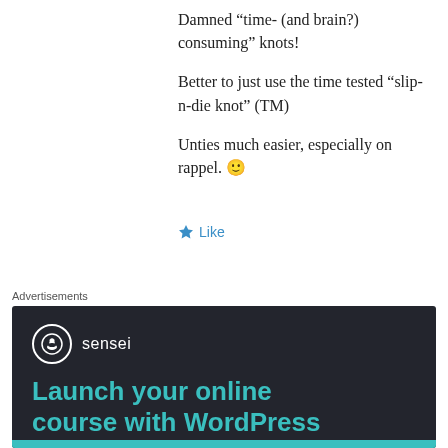Damned “time- (and brain?) consuming” knots!

Better to just use the time tested “slip-n-die knot” (TM)

Unties much easier, especially on rappel. 🙂
★ Like
Advertisements
[Figure (other): Sensei advertisement banner with dark background showing sensei logo and text 'Launch your online course with WordPress' in teal color]